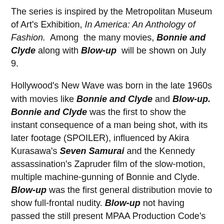The series is inspired by the Metropolitan Museum of Art's Exhibition, In America: An Anthology of Fashion. Among the many movies, Bonnie and Clyde along with Blow-up will be shown on July 9.
Hollywood's New Wave was born in the late 1960s with movies like Bonnie and Clyde and Blow-up. Bonnie and Clyde was the first to show the instant consequence of a man being shot, with its later footage (SPOILER), influenced by Akira Kurasawa's Seven Samurai and the Kennedy assassination's Zapruder film of the slow-motion, multiple machine-gunning of Bonnie and Clyde. Blow-up was the first general distribution movie to show full-frontal nudity. Blow-up not having passed the still present MPAA Production Code's censors, MGM released it under the newly formed Premiere Productions. This heralded the collapse of the Production Code in favor of the current movie rating system.
Both movies were very influential on, and influenced by street